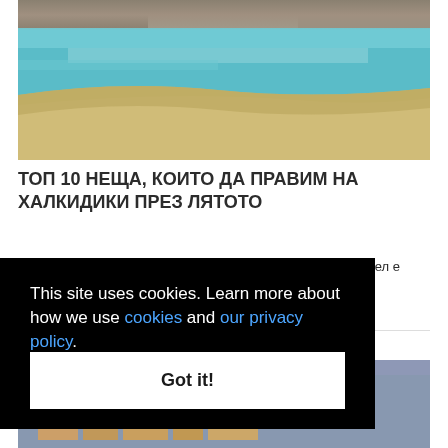[Figure (photo): Beach photo showing turquoise/teal clear water and sandy beach with rocks in background]
ТОП 10 НЕЩА, КОИТО ДА ПРАВИМ НА ХАЛКИДИКИ ПРЕЗ ЛЯТОТО
Щом сте тръргнали за Халкидики, ясно е, че основната ви цел е ... карвате
This site uses cookies. Learn more about how we use cookies and our privacy policy.
Got it!
[Figure (photo): Coastal town/resort buildings photo, partially visible at bottom]